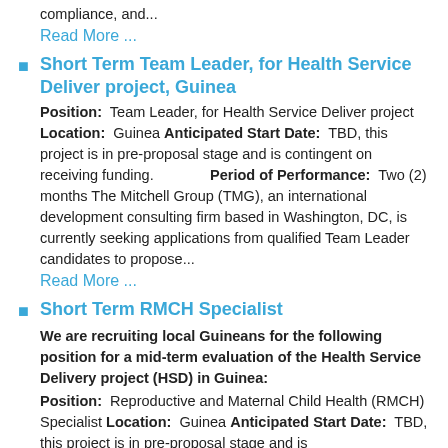compliance, and...
Read More ...
Short Term Team Leader, for Health Service Deliver project, Guinea
Position: Team Leader, for Health Service Deliver project Location: Guinea Anticipated Start Date: TBD, this project is in pre-proposal stage and is contingent on receiving funding. Period of Performance: Two (2) months The Mitchell Group (TMG), an international development consulting firm based in Washington, DC, is currently seeking applications from qualified Team Leader candidates to propose...
Read More ...
Short Term RMCH Specialist
We are recruiting local Guineans for the following position for a mid-term evaluation of the Health Service Delivery project (HSD) in Guinea:
Position: Reproductive and Maternal Child Health (RMCH) Specialist Location: Guinea Anticipated Start Date: TBD, this project is in pre-proposal stage and is